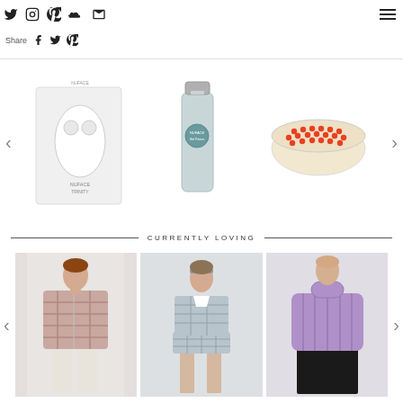Social icons: Twitter, Instagram, Pinterest, SoundCloud, Email | Hamburger menu | Share: Facebook, Twitter, Pinterest
[Figure (photo): NuFACE Trinity facial toning device in white with packaging box]
[Figure (photo): NuFACE gel primer tube in silver/teal packaging]
[Figure (photo): Red light therapy oval device with orange/red LED dots on white base]
CURRENTLY LOVING
[Figure (photo): Fashion model wearing plaid/checkered oversized blazer with wide-leg cream trousers]
[Figure (photo): Fashion model wearing grey gingham check vest and shorts set with white shirt, blue headband]
[Figure (photo): Fashion model wearing purple/lavender cable-knit sleeveless turtleneck top with black skirt]